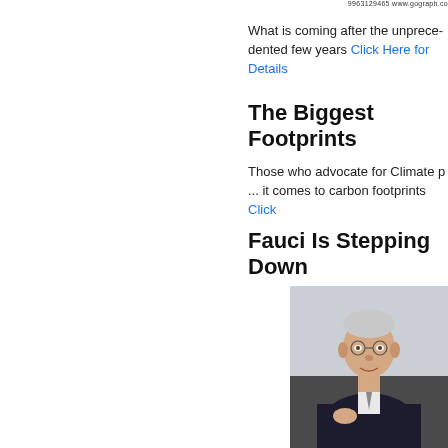9963129465 www.gograph.co
What is coming after the unprecedented few years Click Here for Details
The Biggest Footprints
Those who advocate for Climate p... it comes to carbon footprints Click...
Fauci Is Stepping Down
[Figure (photo): Photo of an elderly man in a dark suit against a light gray background, holding something and looking at camera]